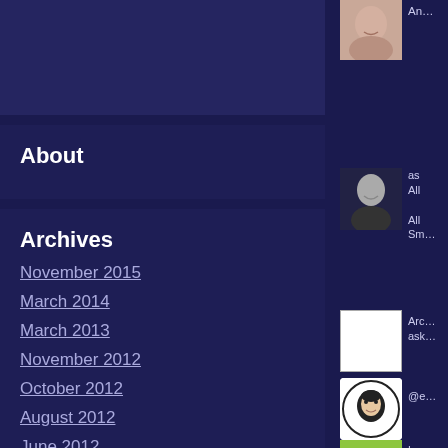[Figure (other): Dark blue banner/header area (partially visible)]
About
Archives
November 2015
March 2014
March 2013
November 2012
October 2012
August 2012
June 2012
May 2012
March 2012
January 2012
[Figure (photo): Thumbnail photo of a person's face (cropped, top right sidebar)]
An…
[Figure (photo): Thumbnail photo of a bald man smiling]
as All All Sm…
[Figure (other): White square thumbnail]
Arc… ask…
[Figure (illustration): Cartoon avatar with black hair on white circular background]
@e…
[Figure (logo): Green starburst/flower logo]
Lov…